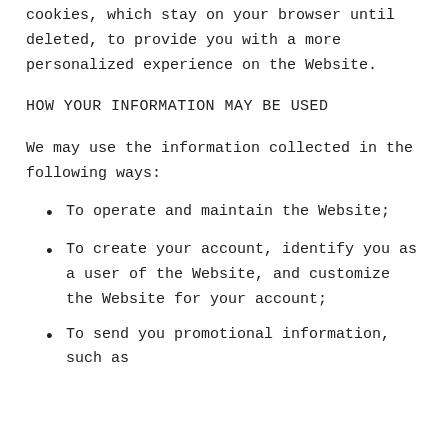cookies, which stay on your browser until deleted, to provide you with a more personalized experience on the Website.
HOW YOUR INFORMATION MAY BE USED
We may use the information collected in the following ways:
To operate and maintain the Website;
To create your account, identify you as a user of the Website, and customize the Website for your account;
To send you promotional information, such as